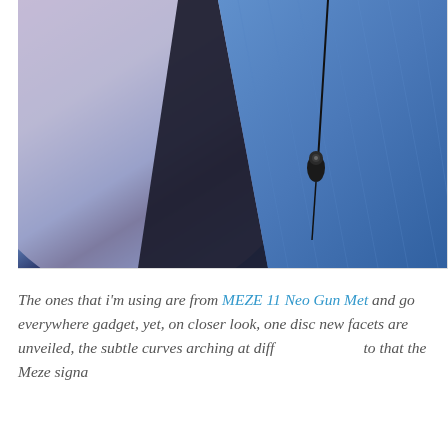[Figure (photo): Close-up photo of a person wearing a blue denim jacket over a dark top, with in-ear headphones/earphones clipped or resting on the jacket. A thin cable runs upward. The background is a soft purple/lavender. The earphone is black and small.]
The ones that i'm using are from MEZE 11 Neo Gun Met and go everywhere gadget, yet, on closer look, one disc new facets are unveiled, the subtle curves arching at diff to that the Meze signa